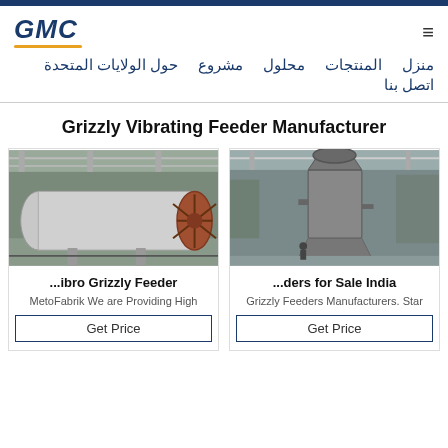GMC
منزل حول الولايات المتحدة مشروع محلول المنتجات
اتصل بنا
Grizzly Vibrating Feeder Manufacturer
[Figure (photo): Industrial rotary kiln or drum equipment in a factory warehouse]
[Figure (photo): Industrial vertical mill or separator equipment in a manufacturing plant]
...ibro Grizzly Feeder
MetoFabrik We are Providing High
...ders for Sale India
Grizzly Feeders Manufacturers. Star
Get Price
Get Price